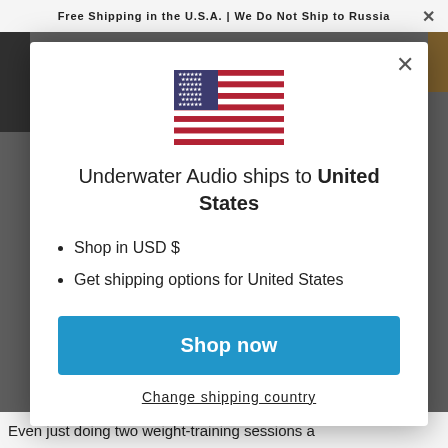Free Shipping in the U.S.A. | We Do Not Ship to Russia
[Figure (illustration): United States flag emoji/icon centered in modal dialog]
Underwater Audio ships to United States
Shop in USD $
Get shipping options for United States
Shop now
Change shipping country
Even just doing two weight-training sessions a